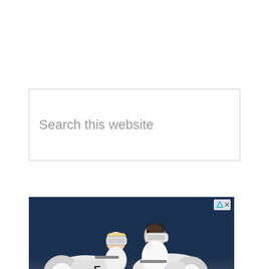Search this website
[Figure (photo): Advertisement banner showing two people wearing VR headsets riding futuristic white motorcycle simulators against a dark blue background. The banner has an ad disclosure icon in the top right corner.]
High Profit VR